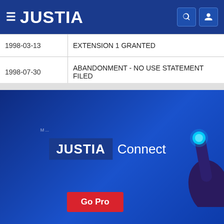JUSTIA
| Date | Event |
| --- | --- |
| 1998-03-13 | EXTENSION 1 GRANTED |
| 1998-07-30 | ABANDONMENT - NO USE STATEMENT FILED |
[Figure (illustration): Justia Connect promotional banner with blue gradient background, JUSTIA Connect logo, a hand pointing with glowing fingertip, and a red Go Pro button]